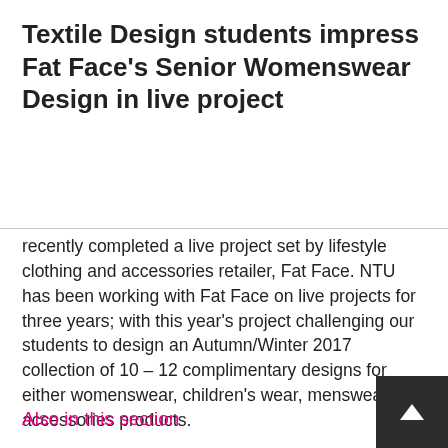Textile Design students impress Fat Face's Senior Womenswear Design in live project
recently completed a live project set by lifestyle clothing and accessories retailer, Fat Face. NTU has been working with Fat Face on live projects for three years; with this year's project challenging our students to design an Autumn/Winter 2017 collection of 10 – 12 complimentary designs for either womenswear, children's wear, menswear or accessories products.
Working in groups, the students began the project by undertaking both market and trend research, in order to gather inspiration for their collections.
Also in this section